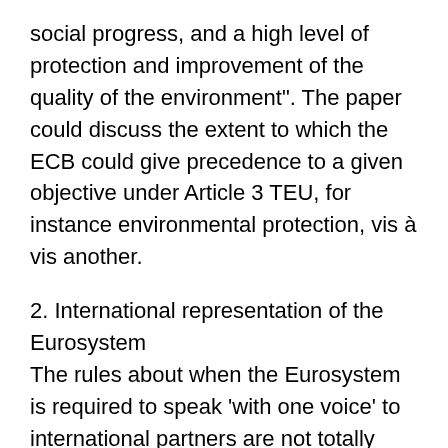social progress, and a high level of protection and improvement of the quality of the environment". The paper could discuss the extent to which the ECB could give precedence to a given objective under Article 3 TEU, for instance environmental protection, vis à vis another.
2. International representation of the Eurosystem
The rules about when the Eurosystem is required to speak 'with one voice' to international partners are not totally clear. Some occasions where this has become recently relevant have been in the context of international technical assistance and of the co-ordination on activities for external representations of the ECB and NCBs. To ensure a single external communication, a “single voice”, of the Eurosystem despite the existence of 20 legal entities within it, Article 6 ESCB/ECB Statute requires the approval of the Governing Council when it comes to the